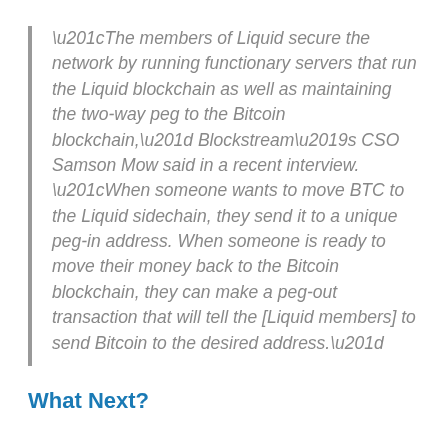“The members of Liquid secure the network by running functionary servers that run the Liquid blockchain as well as maintaining the two-way peg to the Bitcoin blockchain,” Blockstream’s CSO Samson Mow said in a recent interview. “When someone wants to move BTC to the Liquid sidechain, they send it to a unique peg-in address. When someone is ready to move their money back to the Bitcoin blockchain, they can make a peg-out transaction that will tell the [Liquid members] to send Bitcoin to the desired address.”
What Next?